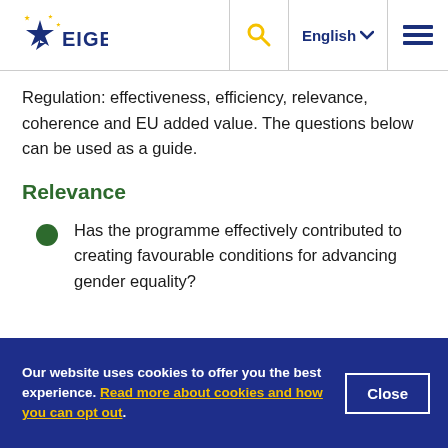EIGE — English navigation header with search and menu
Regulation: effectiveness, efficiency, relevance, coherence and EU added value. The questions below can be used as a guide.
Relevance
Has the programme effectively contributed to creating favourable conditions for advancing gender equality?
Our website uses cookies to offer you the best experience. Read more about cookies and how you can opt out.